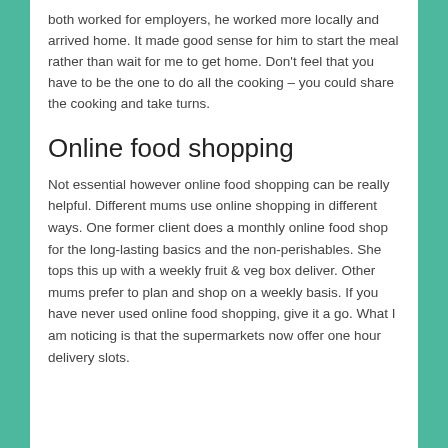both worked for employers, he worked more locally and arrived home. It made good sense for him to start the meal rather than wait for me to get home. Don't feel that you have to be the one to do all the cooking – you could share the cooking and take turns.
Online food shopping
Not essential however online food shopping can be really helpful. Different mums use online shopping in different ways. One former client does a monthly online food shop for the long-lasting basics and the non-perishables. She tops this up with a weekly fruit & veg box deliver. Other mums prefer to plan and shop on a weekly basis. If you have never used online food shopping, give it a go. What I am noticing is that the supermarkets now offer one hour delivery slots.